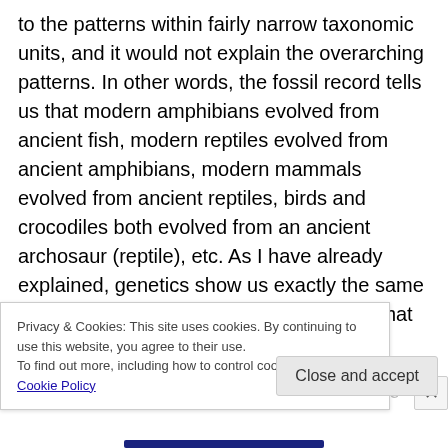to the patterns within fairly narrow taxonomic units, and it would not explain the overarching patterns. In other words, the fossil record tells us that modern amphibians evolved from ancient fish, modern reptiles evolved from ancient amphibians, modern mammals evolved from ancient reptiles, birds and crocodiles both evolved from an ancient archosaur (reptile), etc. As I have already explained, genetics show us exactly the same progression, and there is no reason why that pattern had to exist. An all-powerful being could easily have created birds, reptiles,
amphibians, mammals, etc. without making this pattern
Privacy & Cookies: This site uses cookies. By continuing to use this website, you agree to their use.
To find out more, including how to control cookies, see here: Cookie Policy